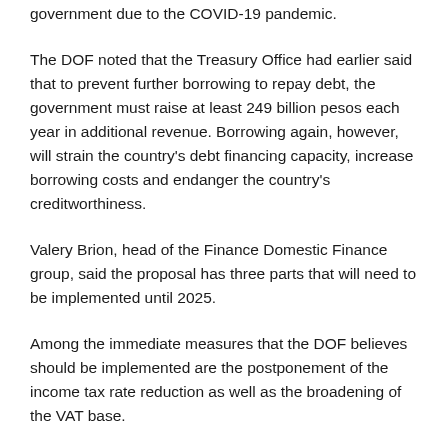government due to the COVID-19 pandemic.
The DOF noted that the Treasury Office had earlier said that to prevent further borrowing to repay debt, the government must raise at least 249 billion pesos each year in additional revenue. Borrowing again, however, will strain the country's debt financing capacity, increase borrowing costs and endanger the country's creditworthiness.
Valery Brion, head of the Finance Domestic Finance group, said the proposal has three parts that will need to be implemented until 2025.
Among the immediate measures that the DOF believes should be implemented are the postponement of the income tax rate reduction as well as the broadening of the VAT base.
The tax rate for those who earned more than 250,000